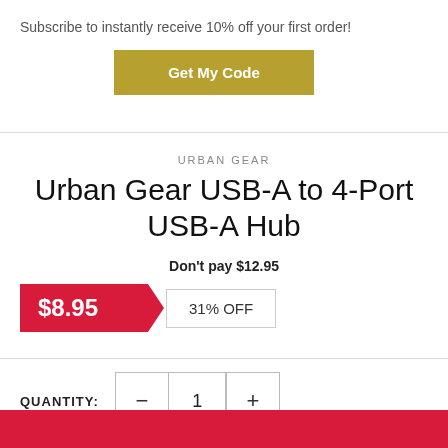Subscribe to instantly receive 10% off your first order!
Get My Code
URBAN GEAR
Urban Gear USB-A to 4-Port USB-A Hub
Don't pay $12.95
$8.95  31% OFF
QUANTITY: 1